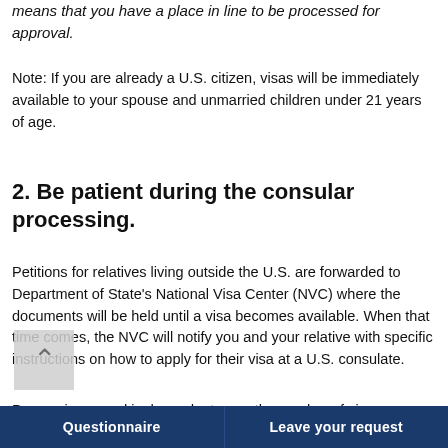means that you have a place in line to be processed for approval.
Note: If you are already a U.S. citizen, visas will be immediately available to your spouse and unmarried children under 21 years of age.
2. Be patient during the consular processing.
Petitions for relatives living outside the U.S. are forwarded to Department of State's National Visa Center (NVC) where the documents will be held until a visa becomes available. When that time comes, the NVC will notify you and your relative with specific instructions on how to apply for their visa at a U.S. consulate.
Processing speed is dependent upon the number of visas
Questionnaire   Leave your request